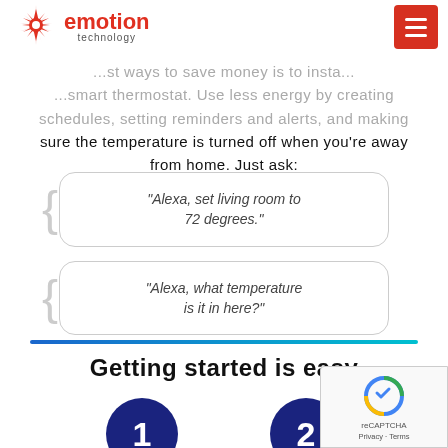emotion technology — navigation header with hamburger menu
...st ways to save money is to insta... ...smart thermostat. Use less energy by creating schedules, setting reminders and alerts, and making sure the temperature is turned off when you're away from home. Just ask:
“Alexa, set living room to 72 degrees.”
“Alexa, what temperature is it in here?”
Getting started is easy
[Figure (infographic): Step 1 and Step 2 dark navy circles with white numbers 1 and 2]